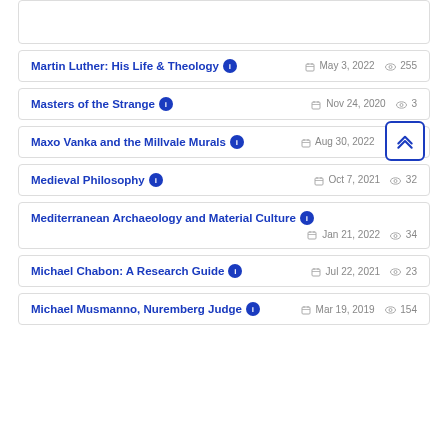Martin Luther: His Life & Theology — May 3, 2022 — 255 views
Masters of the Strange — Nov 24, 2020 — 3 views
Maxo Vanka and the Millvale Murals — Aug 30, 2022 — 574 views
Medieval Philosophy — Oct 7, 2021 — 32 views
Mediterranean Archaeology and Material Culture — Jan 21, 2022 — 34 views
Michael Chabon: A Research Guide — Jul 22, 2021 — 23 views
Michael Musmanno, Nuremberg Judge — Mar 19, 2019 — 154 views